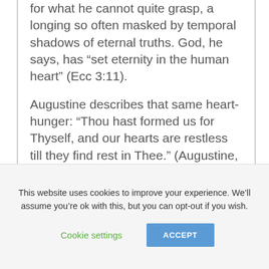for what he cannot quite grasp, a longing so often masked by temporal shadows of eternal truths. God, he says, has “set eternity in the human heart” (Ecc 3:11).
Augustine describes that same heart-hunger: “Thou hast formed us for Thyself, and our hearts are restless till they find rest in Thee.” (Augustine, Confessions, Book 1) – the disquiet of perceiving a ‘beyond’, but being unable to reach it. Yet.
This website uses cookies to improve your experience. We’ll assume you’re ok with this, but you can opt-out if you wish.